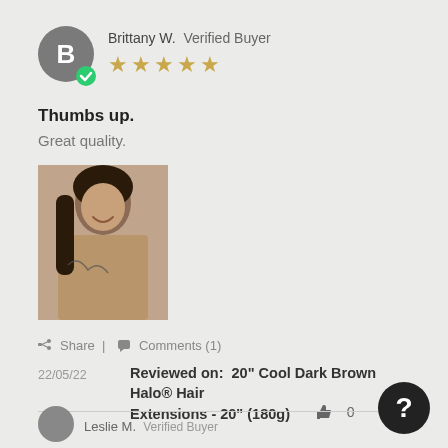Brittany W. Verified Buyer
[Figure (other): 5 gold stars rating]
Thumbs up.
Great quality.
[Figure (photo): Photo of reviewer, a young woman with long dark hair and a tattoo on her chest, smiling]
Share | Comments (1)
22/05/22 Reviewed on: 20" Cool Dark Brown Halo® Hair Extensions - 20" (180g)
0  0
Leslie M. Verified Buyer